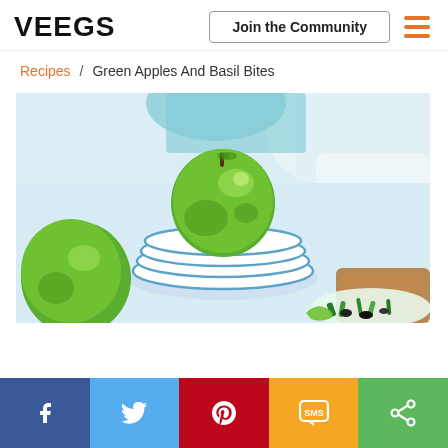VEEGS | Join the Community
Recipes / Green Apples And Basil Bites
[Figure (photo): A green apple sitting on a stack of white plates with blue rims, a wooden cutting board and a white plate with fresh herbs in the background, light background]
Social share bar: Facebook, Twitter, Pinterest, SMS, Share